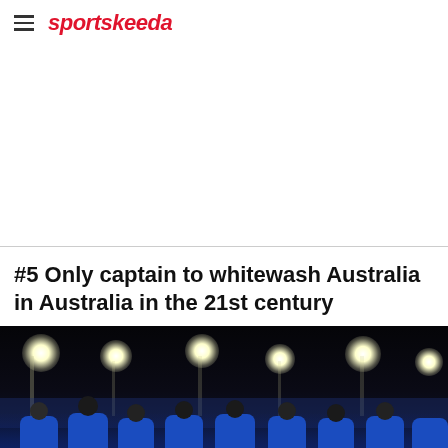sportskeeda
[Figure (other): Advertisement placeholder (white space)]
#5 Only captain to whitewash Australia in Australia in the 21st century
[Figure (photo): Cricket players in blue Indian team jerseys standing on a cricket ground at night with stadium floodlights illuminated in the background]